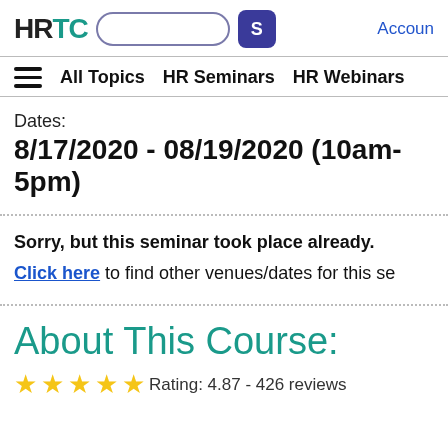HRTC [search box] [S button] Accoun
≡ All Topics  HR Seminars  HR Webinars
Dates:
8/17/2020 - 08/19/2020 (10am-5pm)
Sorry, but this seminar took place already.
Click here to find other venues/dates for this se
About This Course:
Rating: 4.87 - 426 reviews